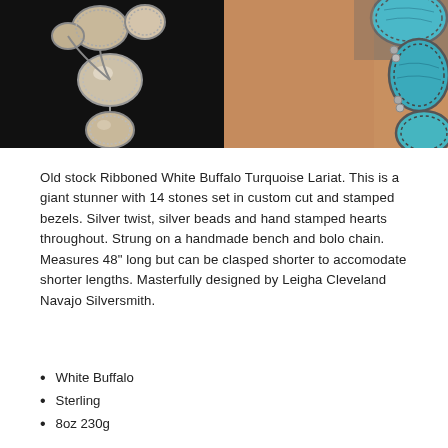[Figure (photo): Two side-by-side product photos. Left: silver jewelry necklace with multiple oval white buffalo stone bezels on a dark background. Right: turquoise stone bracelet or necklace with large blue-green stones in silver settings worn on a wrist.]
Old stock Ribboned White Buffalo Turquoise Lariat. This is a giant stunner with 14 stones set in custom cut and stamped bezels. Silver twist, silver beads and hand stamped hearts throughout. Strung on a handmade bench and bolo chain. Measures 48" long but can be clasped shorter to accomodate shorter lengths. Masterfully designed by Leigha Cleveland Navajo Silversmith.
White Buffalo
Sterling
8oz 230g